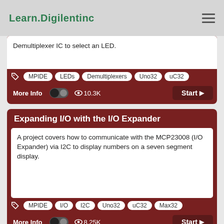Learn.Digilentinc
Demultiplexer IC to select an LED.
MPIDE  LEDs  Demultiplexers  Uno32  uC32
More Info  10.3K  Start
Expanding I/O with the I/O Expander
A project covers how to communicate with the MCP23008 (I/O Expander) via I2C to display numbers on a seven segment display.
MPIDE  I/O  I2C  Uno32  uC32  Max32
More Info  8.25K  Start
H-Bridge Motor Control